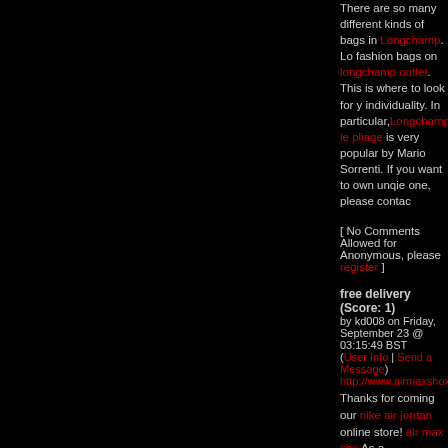There are so many different kinds of bags in Longchamp. Lo fashion bags on longchamp outlet. This is where to look for y individuality. In particular,Longchamp le pliage is very popular by Mario Sorrenti. If you want to own unqie one, please contac
[ No Comments Allowed for Anonymous, please register ]
free delivery (Score: 1)
by kd008 on Friday, September 23 @ 03:15:49 BST
(User Info | Send a Message) http://www.airmaxshoxstore.com
Thanks for coming our nike air jordan online store! air max sho As a developping company, cheap mbt shoes always can give australia boots Sale can make your feet more comfortable, ma want to have a try ,just click here: mbt shoes clearance Free d
[ No Comments Allowed for Anonymous, please register ]
UGG UK (Score: 1)
by UGGUK on Monday, September 26 @ 02:02:51 BST
(User Info | Send a Message) http://www.loveugg.co.uk
UGG UK has great worth in current time due to its great quality perfect and now it's the voice of people to wear UGG Amberie ever get is the UGG Annabelle. I just came across this beautifu grabbed a beautiful pair of UGG Bailey Button. Really nice cla UGG Retro Cargo.
When I came across this offer first time I didn't gave importanc Over The Knee Twisted Cable Couple of weeks earlier I was in model was modeling for UGG Kensington, that model was loo wanted UGG Bailey Button Triplet to look as hot and sexy as th beautiful uggs so my quest for UGG Sheepskin Cuff began.
I turn on my laptop and logged on to net to get complete info a an article and complete info on UGG Classic Mini. I was really crazier for UGG Classic Short. Very next day I went to shoppin Kenly but the price of uggs was way out of my reach I was ver but had little money to get them.UGG Rosabella
I was surfing on the internet one day when I saw an add of UG clicked on it and there I was at the store offering UGG Classic